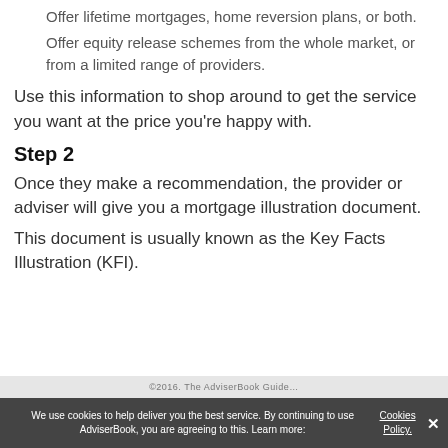Offer lifetime mortgages, home reversion plans, or both.
Offer equity release schemes from the whole market, or from a limited range of providers.
Use this information to shop around to get the service you want at the price you're happy with.
Step 2
Once they make a recommendation, the provider or adviser will give you a mortgage illustration document.
This document is usually known as the Key Facts Illustration (KFI).
We use cookies to help deliver you the best service. By continuing to use AdviserBook, you are agreeing to this. Learn more: Cookies Policy.